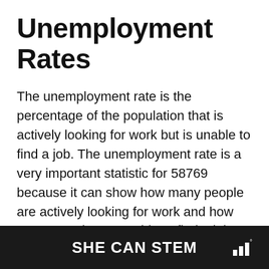Unemployment Rates
The unemployment rate is the percentage of the population that is actively looking for work but is unable to find a job. The unemployment rate is a very important statistic for 58769 because it can show how many people are actively looking for work and how many people are unable to find a job.
Lower levels of unemployment is generally seen as a positive sign for the economy. It also makes the government in 58769 look go... doing a...
SHE CAN STEM